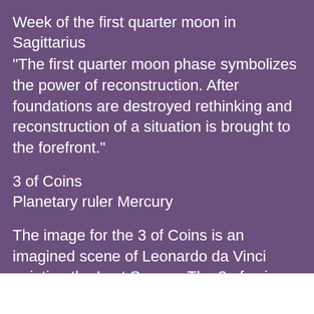Week of the first quarter moon in Sagittarius
"The first quarter moon phase symbolizes the power of reconstruction. After foundations are destroyed rethinking and reconstruction of a situation is brought to the forefront."
3 of Coins
Planetary ruler Mercury
The image for the 3 of Coins is an imagined scene of Leonardo da Vinci painting the Last Supper. The 3 of coins show the connection between the artist, his medium and his idea. This holy trinity of magical creation is the gift of the artist. Whether the art form is musical or visual the connection to something greater than yourself is present. The secrets of the artist encoded within his work are sometimes even a surprise to himself. Anyone can learn how to do